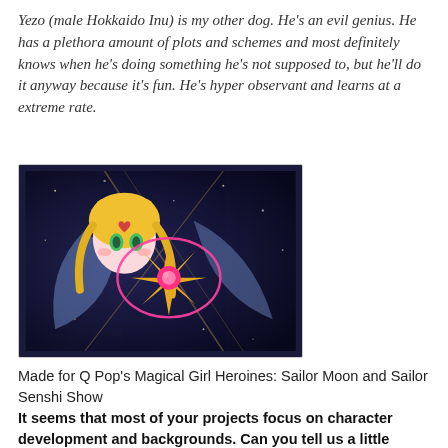Yezo (male Hokkaido Inu) is my other dog. He's an evil genius. He has a plethora amount of plots and schemes and most definitely knows when he's doing something he's not supposed to, but he'll do it anyway because it's fun. He's hyper observant and learns at a extreme rate.
[Figure (photo): Close-up photo of an anime/manga inspired figurine or art piece featuring a Sailor Moon character with blonde hair, green eyes, against a dark blue sparkly background. A pink circular element (hoop or ring) is visible around a star-burst shaped object in the foreground.]
Made for Q Pop's Magical Girl Heroines: Sailor Moon and Sailor Senshi Show
It seems that most of your projects focus on character development and backgrounds. Can you tell us a little about your love for character or story? Where do your